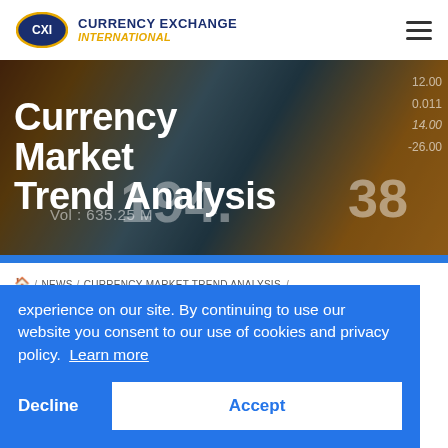CURRENCY EXCHANGE INTERNATIONAL
[Figure (illustration): Currency Market Trend Analysis hero banner with financial data display background showing numbers like 12.00, 0.011, -26.00, 194.38, Vol: 635.25 M, 43.38]
Currency Market Trend Analysis
🏠 / NEWS / CURRENCY MARKET TREND ANALYSIS / FX MARKETS QUIET AS CHRISTMAS ...
experience on our site. By continuing to use our website you consent to our use of cookies and privacy policy. Learn more
Decline
Accept